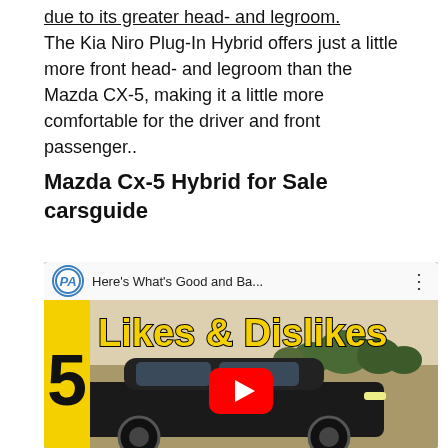due to its greater head- and legroom. The Kia Niro Plug-In Hybrid offers just a little more front head- and legroom than the Mazda CX-5, making it a little more comfortable for the driver and front passenger..
Mazda Cx-5 Hybrid for Sale carsguide
[Figure (screenshot): YouTube video thumbnail showing 'Here's What's Good and Ba...' with title 'Likes & Dislikes' overlaid in yellow bold text, featuring a dark SUV car and a YouTube play button. Left side has yellow rectangle with partial number. Logo in top bar is a circular PA emblem.]